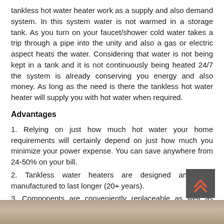tankless hot water heater work as a supply and also demand system. In this system water is not warmed in a storage tank. As you turn on your faucet/shower cold water takes a trip through a pipe into the unity and also a gas or electric aspect heats the water. Considering that water is not being kept in a tank and it is not continuously being heated 24/7 the system is already conserving you energy and also money. As long as the need is there the tankless hot water heater will supply you with hot water when required.
Advantages
1. Relying on just how much hot water your home requirements will certainly depend on just how much you minimize your power expense. You can save anywhere from 24-50% on your bill.
2. Tankless water heaters are designed and also manufactured to last longer (20+ years).
3. Components are conveniently replaceable as well as inexpensive.
4. Maintenance goes a long way. Seeing to it your system is running effectively will not only save you money on your energy bill but it can additionally increase the life of your system.
5. Standby warmth losses are avoided since water is not constantly being heated and also remaining in the tank.
[Figure (photo): Bottom strip showing a partial photo of a water heater installation, visible at the very bottom of the page.]